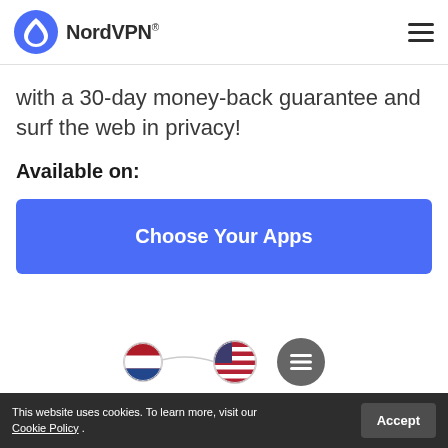[Figure (logo): NordVPN logo with blue mountain/shield icon and bold NordVPN text with registered trademark]
with a 30-day money-back guarantee and surf the web in privacy!
Available on:
[Figure (other): Blue button labeled 'Choose Your Apps']
[Figure (other): Netherlands flag circle, US flag circle, and dark circle icon at bottom]
This website uses cookies. To learn more, visit our Cookie Policy .